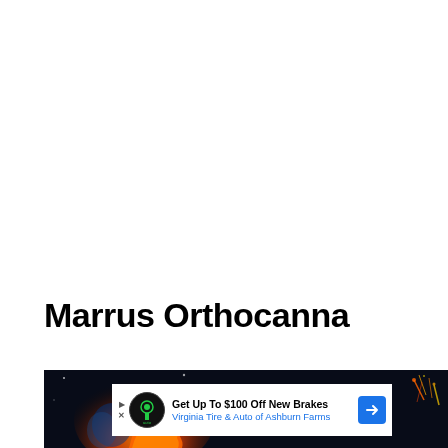Marrus Orthocanna
[Figure (photo): Dark space/underwater background with orange fire/glow effect on left and colorful fireworks/sparks on right. An advertisement overlay from Virginia Tire & Auto of Ashburn Farms is shown in the lower portion, with text 'Get Up To $100 Off New Brakes' and the Virginia Tire & Auto logo.]